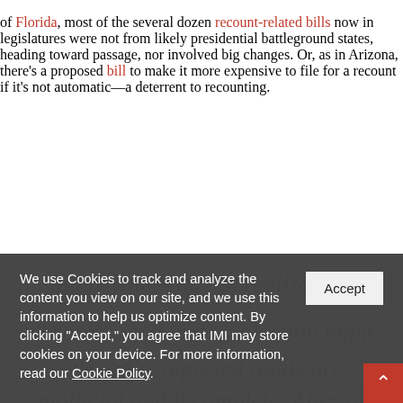of Florida, most of the several dozen recount-related bills now in legislatures were not from likely presidential battleground states, heading toward passage, nor involved big changes. Or, as in Arizona, there's a proposed bill to make it more expensive to file for a recount if it's not automatic—a deterrent to recounting.
We use Cookies to track and analyze the content you view on our site, and we use this information to help us optimize content. By clicking "Accept," you agree that IMI may store cookies on your device. For more information, read our Cookie Policy.
Many voters do not realize that elections don't end on election night, where the reported totals are unofficial and incomplete. After all of the ballots are collected and machinery is packed up, a process